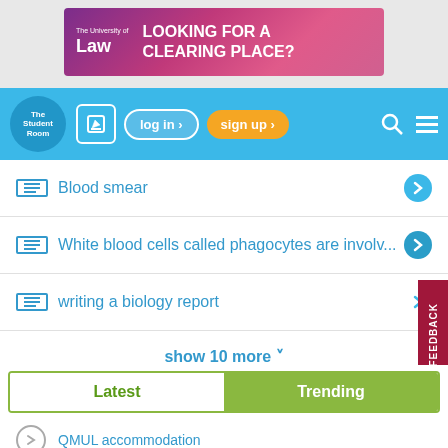[Figure (other): University of Law advertisement banner: 'LOOKING FOR A CLEARING PLACE?' on purple/pink gradient background]
[Figure (screenshot): The Student Room website navigation bar with logo, edit icon, log in button, sign up button, search and menu icons on blue background]
Blood smear
White blood cells called phagocytes are involv...
writing a biology report
show 10 more ˅
[Figure (screenshot): Latest / Trending tab selector with Latest unselected and Trending selected in green]
QMUL accommodation
The Official "Which Dental School Should I Apply To?" Thread